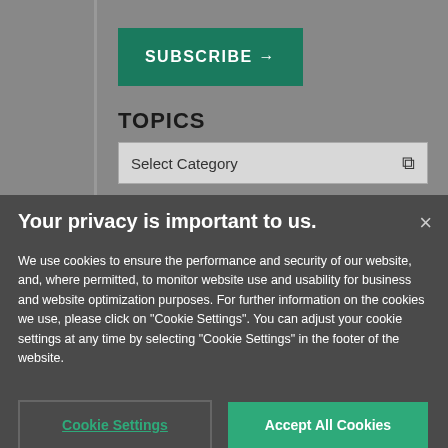[Figure (screenshot): Subscribe button (green) with arrow and Topics dropdown showing 'Select Category' on a grey background]
TOPICS
Your privacy is important to us.
We use cookies to ensure the performance and security of our website, and, where permitted, to monitor website use and usability for business and website optimization purposes. For further information on the cookies we use, please click on "Cookie Settings". You can adjust your cookie settings at any time by selecting "Cookie Settings" in the footer of the website.
Cookie Settings
Accept All Cookies